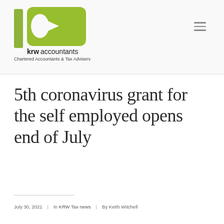[Figure (logo): KRW Accountants logo with green geometric K shape and text 'krwaccountants' with tagline 'Chartered Accountants & Tax Advisers']
5th coronavirus grant for the self employed opens end of July
July 30, 2021  |  In KRW Tax news  |  By Keith Witchell